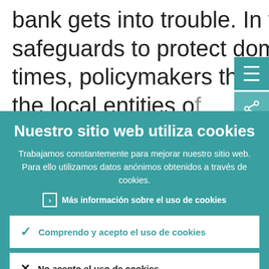bank gets into trouble. In the absence of clear safeguards to protect domestic interests in bad times, policymakers thus feel the need to require the local entities of
Nuestro sitio web utiliza cookies
Trabajamos constantemente para mejorar nuestro sitio web. Para ello utilizamos datos anónimos obtenidos a través de cookies.
› Más información sobre el uso de cookies
✓ Comprendo y acepto el uso de cookies
✕ No acepto el uso de cookies